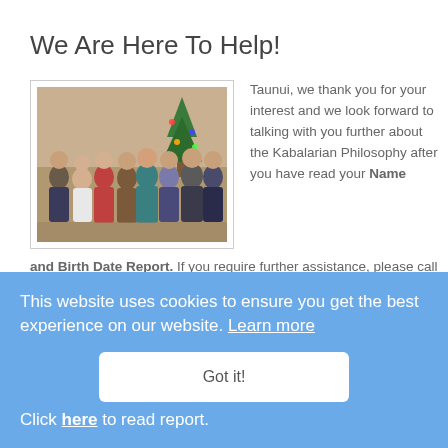We Are Here To Help!
[Figure (photo): Group photo of approximately 9-10 people posing together indoors near a Christmas tree, dressed in formal/semi-formal attire.]
Taunui, we thank you for your interest and we look forward to talking with you further about the Kabalarian Philosophy after you have read your Name and Birth Date Report. If you require further assistance, please call our head office in Vancouver, Canada toll-free at 866-489-1188 (or 604-263-9551 if outside of North America.)
Click here to read report.
This website uses cookies to ensure you get the best experience on our website. Learn more
Got it!